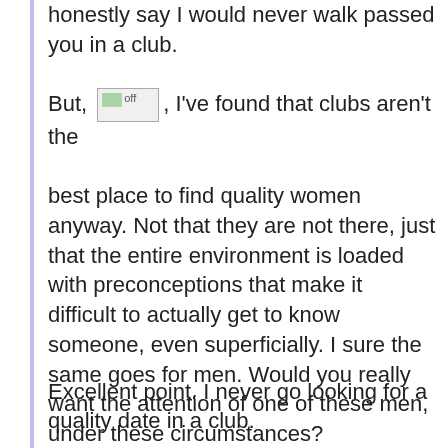honestly say I would never walk passed you in a club.
But, [off], I've found that clubs aren't the best place to find quality women anyway. Not that they are not there, just that the entire environment is loaded with preconceptions that make it difficult to actually get to know someone, even superficially. I sure the same goes for men. Would you really want the attention of one of these men, under these circumstances?
Excellent point. I never go looking for a quality date in a club.